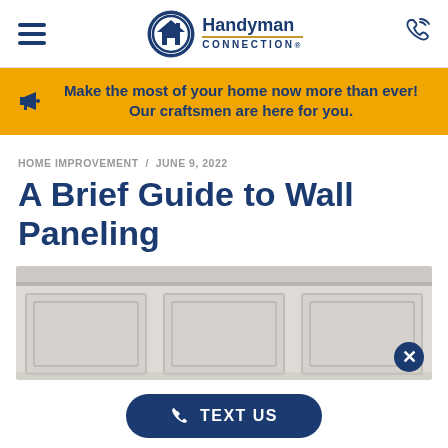Handyman Connection — site header with hamburger menu, logo, and phone icon
Make the most of your home now more than ever! Our craftsmen are here for you.
HOME IMPROVEMENT / JUNE 9, 2022
A Brief Guide to Wall Paneling
[Figure (photo): Partial view of white painted wall paneling with decorative raised panels]
TEXT US